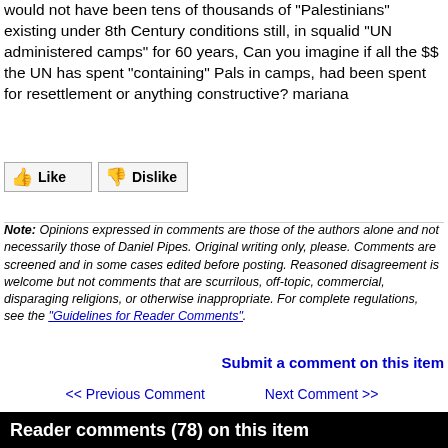would not have been tens of thousands of "Palestinians" existing under 8th Century conditions still, in squalid "UN administered camps" for 60 years, Can you imagine if all the $$ the UN has spent "containing" Pals in camps, had been spent for resettlement or anything constructive? mariana
[Figure (other): Like and Dislike buttons with thumbs up/down icons]
Note: Opinions expressed in comments are those of the authors alone and not necessarily those of Daniel Pipes. Original writing only, please. Comments are screened and in some cases edited before posting. Reasoned disagreement is welcome but not comments that are scurrilous, off-topic, commercial, disparaging religions, or otherwise inappropriate. For complete regulations, see the "Guidelines for Reader Comments".
Submit a comment on this item
<< Previous Comment    Next Comment >>
Reader comments (78) on this item
Filter by date, name, title:
Title    Commenter    Date